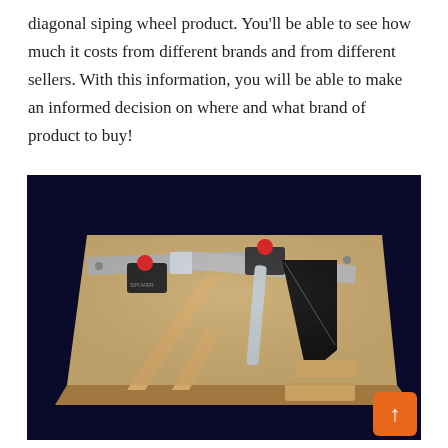diagonal siping wheel product. You'll be able to see how much it costs from different brands and from different sellers. With this information, you will be able to make an informed decision on where and what brand of product to buy!
[Figure (photo): A diagonal siping wheel tool/jig consisting of a flat MDF board with metal rails, red-knobbed clamps, and blade guides. Several wood strips and shaped blades are shown on the board. Dark blue-black background.]